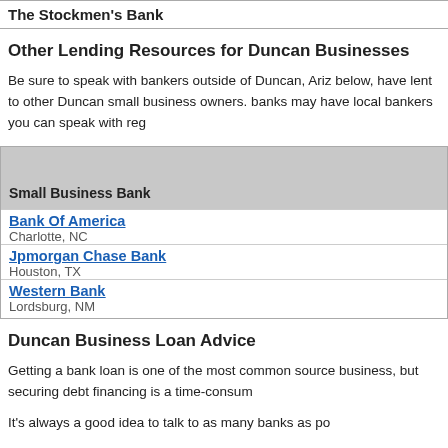The Stockmen's Bank
Other Lending Resources for Duncan Businesses
Be sure to speak with bankers outside of Duncan, Ariz below, have lent to other Duncan small business owners. banks may have local bankers you can speak with reg
| Small Business Bank |
| --- |
| Bank Of America | Charlotte, NC |
| Jpmorgan Chase Bank | Houston, TX |
| Western Bank | Lordsburg, NM |
Duncan Business Loan Advice
Getting a bank loan is one of the most common source business, but securing debt financing is a time-consum
It's always a good idea to talk to as many banks as po
When applying for a small business loan, you will find with you and others will. Of those banks that will work loan terms than others.
By meeting with all of the local banks in your area, an